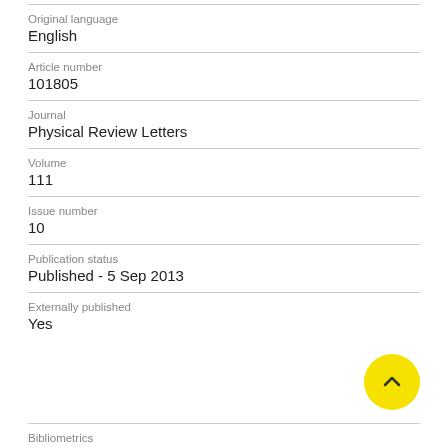Original language
English
Article number
101805
Journal
Physical Review Letters
Volume
111
Issue number
10
Publication status
Published - 5 Sep 2013
Externally published
Yes
Bibliometrics